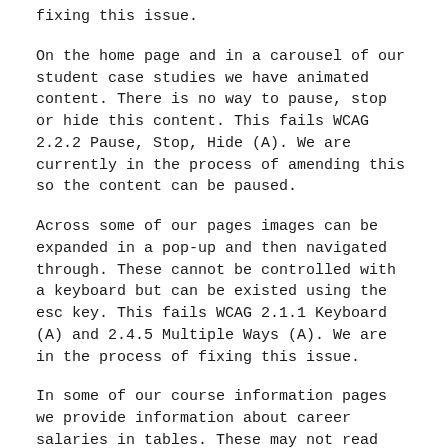fixing this issue.
On the home page and in a carousel of our student case studies we have animated content. There is no way to pause, stop or hide this content. This fails WCAG 2.2.2 Pause, Stop, Hide (A). We are currently in the process of amending this so the content can be paused.
Across some of our pages images can be expanded in a pop-up and then navigated through. These cannot be controlled with a keyboard but can be existed using the esc key. This fails WCAG 2.1.1 Keyboard (A) and 2.4.5 Multiple Ways (A). We are in the process of fixing this issue.
In some of our course information pages we provide information about career salaries in tables. These may not read very well for screen reader users. This fails WCAG 1.3.1 Info and relationships (A). We are in the process of fixing this issue.